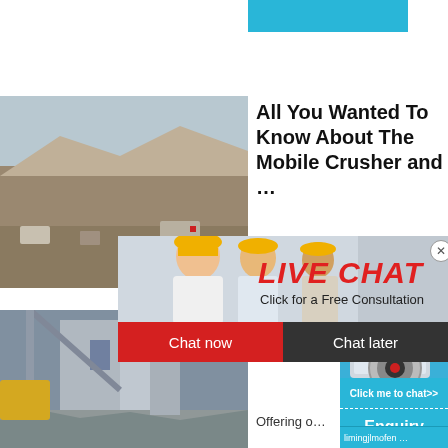[Figure (photo): Mining/quarry site with rocky terrain, trucks and machinery in an open-pit mining landscape]
All You Wanted To Know About The Mobile Crusher and …
hour online
[Figure (photo): Three workers wearing yellow hard hats smiling, with LIVE CHAT overlay text, Click for a Free Consultation subtitle, and Chat now / Chat later buttons]
LIVE CHAT
Click for a Free Consultation
Chat now
Chat later
[Figure (photo): Industrial crusher machine on blue background]
[Figure (photo): Construction or demolition site with partially demolished building, crane arm, and rubble]
Mobile Screen… 2021-20…
Offering o…
Click me to chat>>
Enquiry
limingjlmofen …